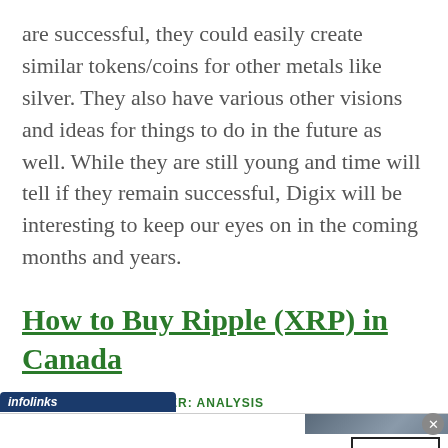are successful, they could easily create similar tokens/coins for other metals like silver. They also have various other visions and ideas for things to do in the future as well. While they are still young and time will tell if they remain successful, Digix will be interesting to keep our eyes on in the coming months and years.
How to Buy Ripple (XRP) in Canada
infolinks   UNDER: ANALYSIS
[Figure (screenshot): Bloomingdale's advertisement banner showing logo, 'View Today's Top Deals!' tagline, a woman in a wide-brim hat, and a 'SHOP NOW >' button]